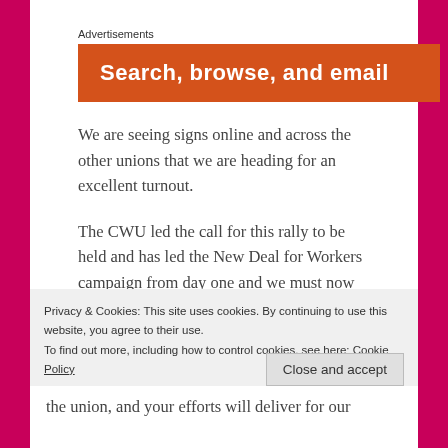Advertisements
[Figure (other): Orange advertisement banner with white bold text: 'Search, browse, and email']
We are seeing signs online and across the other unions that we are heading for an excellent turnout.
The CWU led the call for this rally to be held and has led the New Deal for Workers campaign from day one and we must now deliver.
We must now deliver the biggest mobilisation at a
Privacy & Cookies: This site uses cookies. By continuing to use this website, you agree to their use.
To find out more, including how to control cookies, see here: Cookie Policy
Close and accept
the union, and your efforts will deliver for our